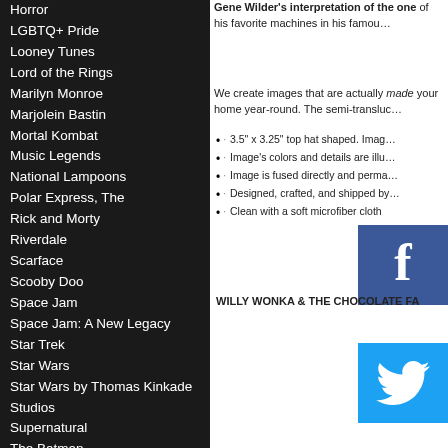Horror
LGBTQ+ Pride
Looney Tunes
Lord of the Rings
Marilyn Monroe
Marjolein Bastin
Mortal Kombat
Music Legends
National Lampoons
Polar Express, The
Rick and Morty
Riverdale
Scarface
Scooby Doo
Space Jam
Space Jam: A New Legacy
Star Trek
Star Wars
Star Wars by Thomas Kinkade Studios
Supernatural
The Batman
The Mandalorian
The Matrix
Thomas Kinkade
Tim Burton's Corpse Bride
Tom and Jerry
Trend Setters Originals
Wacky Races
Where The Wild Things Are
Willy Wonka and the
Gene Wilder's interpretation of the one of his favorite machines in his famous
We create images that are actually made your home year-round. The semi-translucent
3.5" x 3.25" top hat shaped. Image
Image's colors and details are illuminated
Image is fused directly and permanently
Designed, crafted, and shipped by
Clean with a soft microfiber cloth
WILLY WONKA & THE CHOCOLATE FA